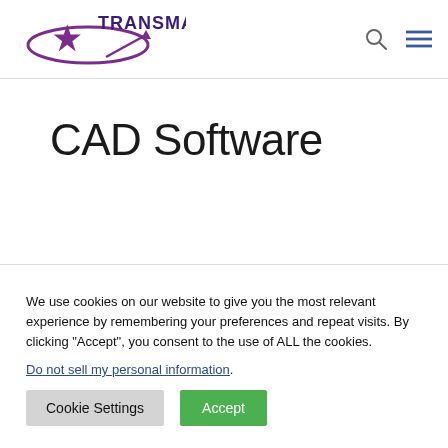TransMagic
CAD Software
We use cookies on our website to give you the most relevant experience by remembering your preferences and repeat visits. By clicking “Accept”, you consent to the use of ALL the cookies.
Do not sell my personal information.
Cookie Settings  Accept